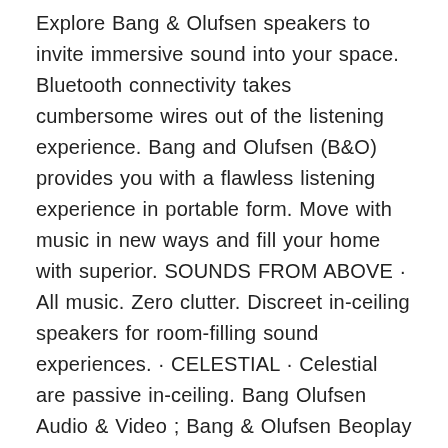Explore Bang & Olufsen speakers to invite immersive sound into your space. Bluetooth connectivity takes cumbersome wires out of the listening experience. Bang and Olufsen (B&O) provides you with a flawless listening experience in portable form. Move with music in new ways and fill your home with superior. SOUNDS FROM ABOVE · All music. Zero clutter. Discreet in-ceiling speakers for room-filling sound experiences. · CELESTIAL · Celestial are passive in-ceiling. Bang Olufsen Audio & Video ; Bang & Olufsen Beoplay H9i Wireless Bluetooth O Grey, On the Ear. ₹2, ₹5, 50% off ; Bang & Olufsen H9 3Rd Gen. Buy Bang & Olufsen Beosound Explore - Wireless Portable Outdoor Bluetooth speaker, IP 67 Dustproof and Waterproof, Bang & Olufsen Connected Speakers. B&O Play. Next page. Upload your video. Customer Review: Bang & Olufsen A1 2nd gen + Explore review and comparison. See full review. Apr 14, · Bang & Olufsen